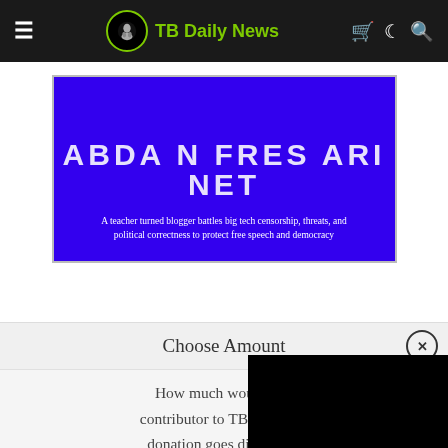TB Daily News
[Figure (illustration): Blue book cover with white bold text showing partial title and subtitle: 'A teacher turned blogger battles big tech censorship, threats, and political correctness to protect free speech and democracy']
Choose Amount
How much would you like to contribute to TB Daily News donation goes directly to Thank you for yo